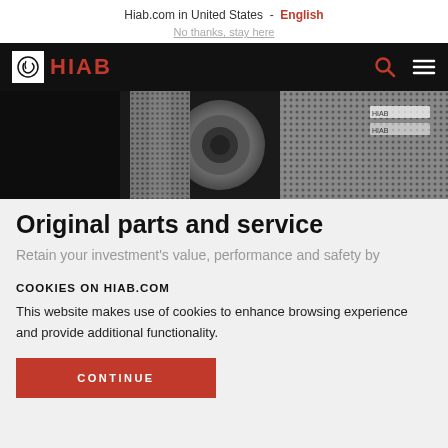Hiab.com in United States - English
No thanks, stay here
[Figure (logo): HIAB logo with crane icon on black navigation bar with search and menu icons]
[Figure (photo): Close-up photo of metal industrial parts/filters on dark background]
Original parts and service
Retain your investment's value, performance and safety by
COOKIES ON HIAB.COM
This website makes use of cookies to enhance browsing experience and provide additional functionality.
CONTINUE